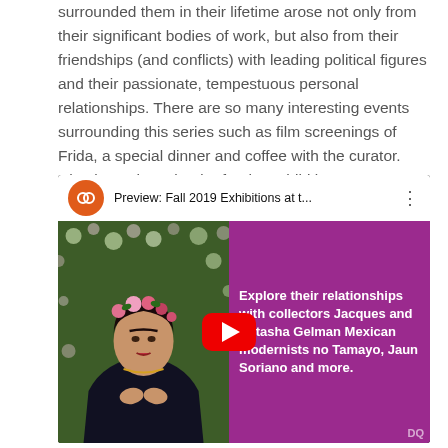surrounded them in their lifetime arose not only from their significant bodies of work, but also from their friendships (and conflicts) with leading political figures and their passionate, tempestuous personal relationships. There are so many interesting events surrounding this series such as film screenings of Frida, a special dinner and coffee with the curator. Check out the calender for the exhibition events: here.
[Figure (screenshot): YouTube video thumbnail for 'Preview: Fall 2019 Exhibitions at t...' showing a woman (Frida Kahlo-like portrait) on a green floral background on the left, and purple panel on the right with text 'Explore their relationships with collectors Jacques and Natasha Gelman Mexican modernists no Tamayo, Jaun Soriano and more.' with a red YouTube play button overlay.]